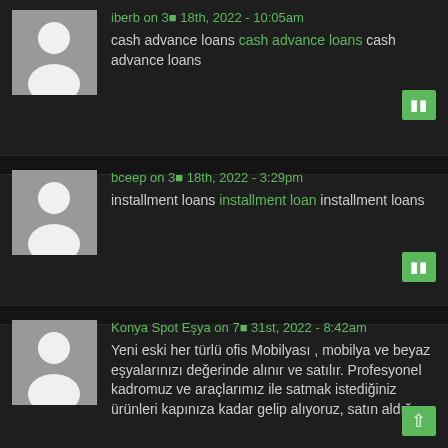iberb on 3■ 18th, 2022 - 10:05am
cash advance loans cash advance loans cash advance loans
bceep on 3■ 18th, 2022 - 3:29pm
installment loans installment loan installment loans
Konya Spot Eşya on 7■ 31st, 2022 - 8:42am
Yeni eski her türlü ofis Mobilyası , mobilya ve beyaz eşyalarınızı değerinde alınır ve satılır. Profesyonel kadromuz ve araçlarımız ile satmak istediğiniz ürünleri kapınıza kadar gelip alıyoruz, satın aldığınız